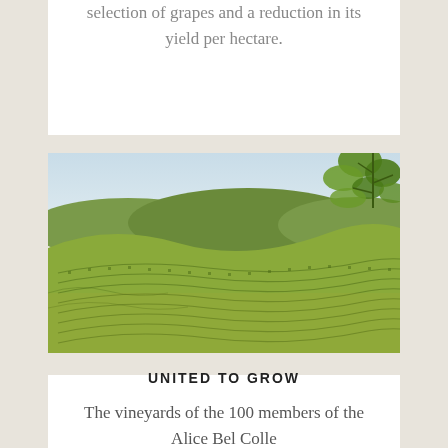selection of grapes and a reduction in its yield per hectare.
[Figure (photo): Aerial/wide landscape view of rolling vineyard hills with rows of grapevines in sunlight; leafy branch visible in upper right corner; blue sky with light clouds in background.]
UNITED TO GROW
The vineyards of the 100 members of the Alice Bel Colle